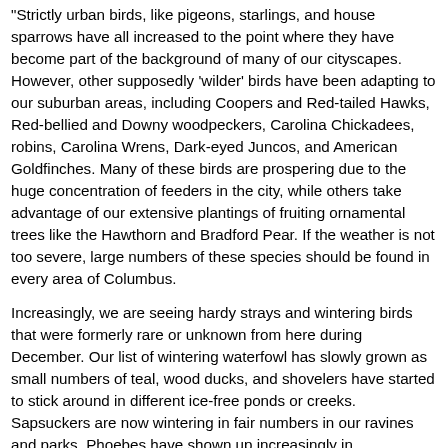"Strictly urban birds, like pigeons, starlings, and house sparrows have all increased to the point where they have become part of the background of many of our cityscapes. However, other supposedly 'wilder' birds have been adapting to our suburban areas, including Coopers and Red-tailed Hawks, Red-bellied and Downy woodpeckers, Carolina Chickadees, robins, Carolina Wrens, Dark-eyed Juncos, and American Goldfinches. Many of these birds are prospering due to the huge concentration of feeders in the city, while others take advantage of our extensive plantings of fruiting ornamental trees like the Hawthorn and Bradford Pear. If the weather is not too severe, large numbers of these species should be found in every area of Columbus.
Increasingly, we are seeing hardy strays and wintering birds that were formerly rare or unknown from here during December. Our list of wintering waterfowl has slowly grown as small numbers of teal, wood ducks, and shovelers have started to stick around in different ice-free ponds or creeks. Sapsuckers are now wintering in fair numbers in our ravines and parks. Phoebes have shown up increasingly in